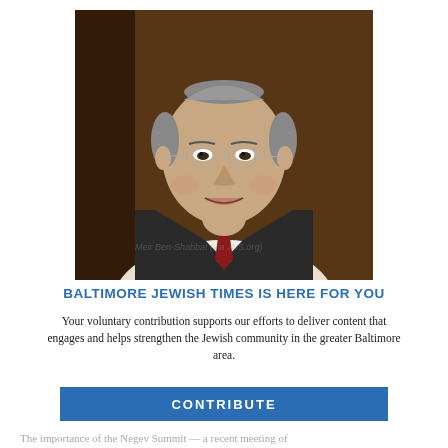[Figure (photo): Portrait photo of a middle-aged man wearing glasses and a kippah, smiling, dressed in a suit and tie, photographed against a dark wooden background.]
BALTIMORE JEWISH TIMES IS HERE FOR YOU
Your voluntary contribution supports our efforts to deliver content that engages and helps strengthen the Jewish community in the greater Baltimore area.
CONTRIBUTE
The importance of the Negev Summit — a recent meeting of